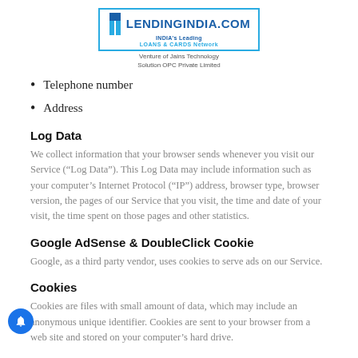[Figure (logo): LendingIndia.com logo - India's Leading Loans & Cards Network, Venture of Jains Technology Solution OPC Private Limited]
Telephone number
Address
Log Data
We collect information that your browser sends whenever you visit our Service (“Log Data”). This Log Data may include information such as your computer’s Internet Protocol (“IP”) address, browser type, browser version, the pages of our Service that you visit, the time and date of your visit, the time spent on those pages and other statistics.
Google AdSense & DoubleClick Cookie
Google, as a third party vendor, uses cookies to serve ads on our Service.
Cookies
Cookies are files with small amount of data, which may include an anonymous unique identifier. Cookies are sent to your browser from a web site and stored on your computer’s hard drive.